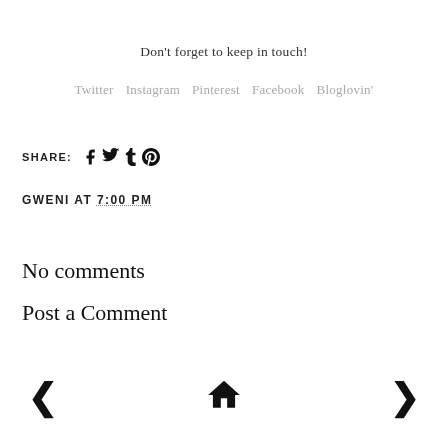Don't forget to keep in touch!
Twitter  Instagram  Pinterest  Facebook  Bloglovin'
SHARE: [social share icons for Facebook, Twitter, Tumblr, Pinterest]
GWENI AT 7:00 PM
No comments
Post a Comment
[ navigation: previous | home | next ]